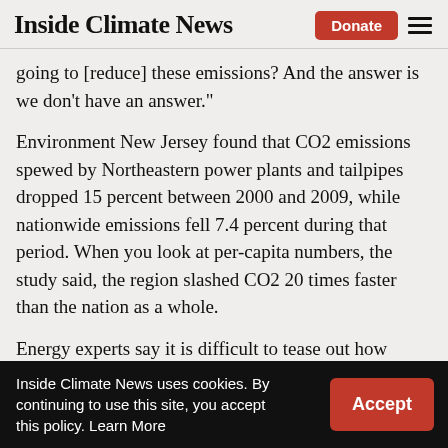Inside Climate News
going to [reduce] these emissions? And the answer is we don’t have an answer.”
Environment New Jersey found that CO2 emissions spewed by Northeastern power plants and tailpipes dropped 15 percent between 2000 and 2009, while nationwide emissions fell 7.4 percent during that period. When you look at per-capita numbers, the study said, the region slashed CO2 20 times faster than the nation as a whole.
Energy experts say it is difficult to tease out how much of the decline was from policies to
Inside Climate News uses cookies. By continuing to use this site, you accept this policy. Learn More